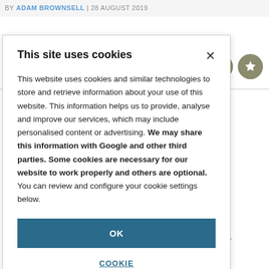BY ADAM BROWNSELL | 28 AUGUST 2019
your home? y but the tops and uired over the hobiles, three cal cameras. published a study nused gadgets lie ith 45% of homes v, and 82% of the no plans to
This site uses cookies
This website uses cookies and similar technologies to store and retrieve information about your use of this website. This information helps us to provide, analyse and improve our services, which may include personalised content or advertising. We may share this information with Google and other third parties. Some cookies are necessary for our website to work properly and others are optional. You can review and configure your cookie settings below.
OK
COOKIE SETTINGS